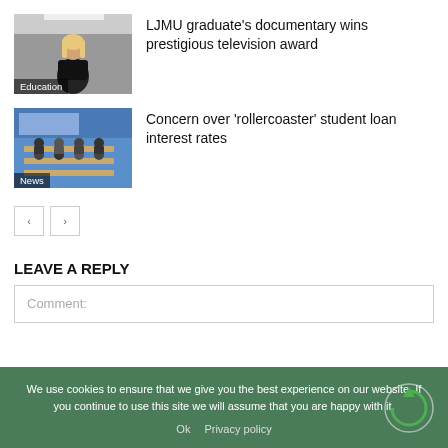[Figure (photo): Thumbnail image of a woman standing in a classroom or office, with 'Education' label overlay]
LJMU graduate's documentary wins prestigious television award
[Figure (photo): Thumbnail image of students sitting at desks in a classroom, with 'News' label overlay]
Concern over ‘rollercoaster’ student loan interest rates
< >
LEAVE A REPLY
Comment:
We use cookies to ensure that we give you the best experience on our website. If you continue to use this site we will assume that you are happy with it.
Ok   Privacy policy